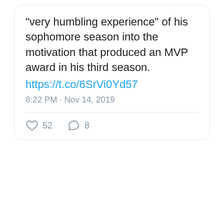# Dodgers Cody Bellinger turned the "very humbling experience" of his sophomore season into the motivation that produced an MVP award in his third season. https://t.co/6SrVi0Yd57
8:22 PM · Nov 14, 2019
52 likes, 8 comments